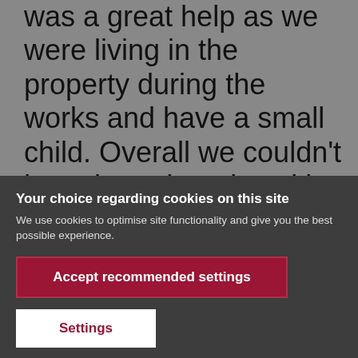was a great help as we were living in the property during the works and have a small child. Overall we couldn't have been happier with the process. This was the first time we have undertaken a project like this
Your choice regarding cookies on this site
We use cookies to optimise site functionality and give you the best possible experience.
Accept recommended settings
Settings